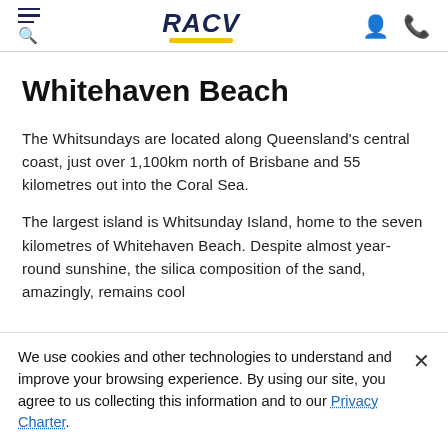RACV
Whitehaven Beach
The Whitsundays are located along Queensland's central coast, just over 1,100km north of Brisbane and 55 kilometres out into the Coral Sea.
The largest island is Whitsunday Island, home to the seven kilometres of Whitehaven Beach. Despite almost year-round sunshine, the silica composition of the sand, amazingly, remains cool
We use cookies and other technologies to understand and improve your browsing experience. By using our site, you agree to us collecting this information and to our Privacy Charter.